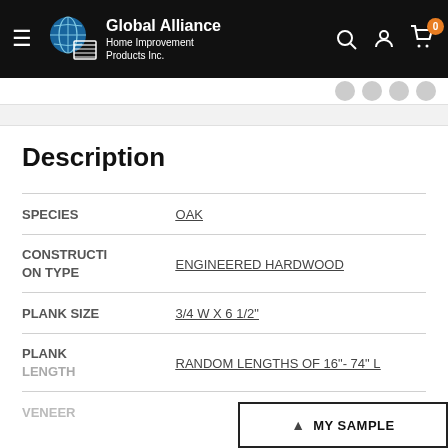Global Alliance Home Improvement Products Inc.
Description
|  |  |
| --- | --- |
| SPECIES | OAK |
| CONSTRUCTION TYPE | ENGINEERED HARDWOOD |
| PLANK SIZE | 3/4 W X 6 1/2" |
| PLANK LENGTH | RANDOM LENGTHS OF 16"- 74" L |
| VENEER |  |